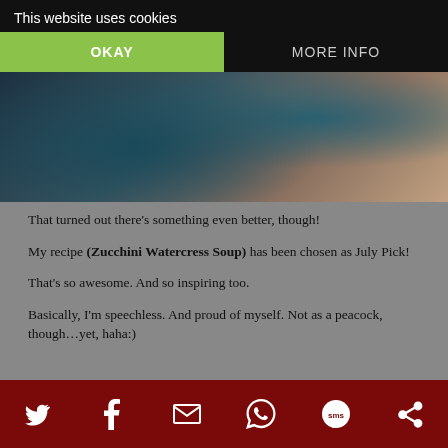This website uses cookies
OKAY
MORE INFO
[Figure (photo): Partial view of a bowl or plate with food, dark teal/blue tones, on a wooden surface]
That turned out there’s something even better, though!
My recipe (Zucchini Watercress Soup) has been chosen as July Pick!
That’s so awesome. And so inspiring too.
Basically, I’m speechless. And proud of myself. Not as a peacock, though…yet, haha:)
Twitter, Facebook, Email, WhatsApp, SMS, Other share icons